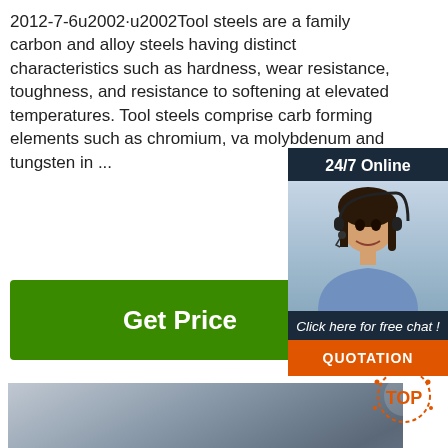2012-7-6u2002·u2002Tool steels are a family carbon and alloy steels having distinct characteristics such as hardness, wear resistance, toughness, and resistance to softening at elevated temperatures. Tool steels comprise carb forming elements such as chromium, va molybdenum and tungsten in ...
Get Price
[Figure (photo): Photo of multiple large coils of steel wire rod stacked on a surface, showing tightly wound silver/grey wire in circular coils bound with metal straps.]
[Figure (infographic): 24/7 Online chat widget showing a woman with a headset smiling, with text 'Click here for free chat!' and an orange QUOTATION button below.]